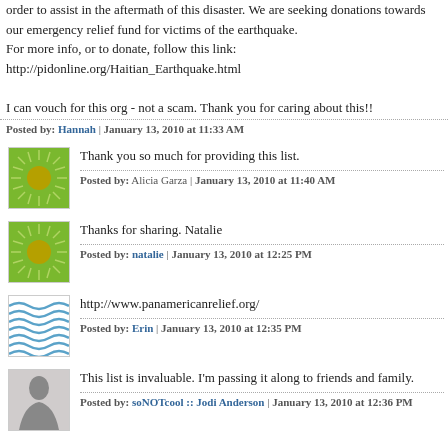order to assist in the aftermath of this disaster. We are seeking donations towards our emergency relief fund for victims of the earthquake. For more info, or to donate, follow this link: http://pidonline.org/Haitian_Earthquake.html

I can vouch for this org - not a scam. Thank you for caring about this!!
Posted by: Hannah | January 13, 2010 at 11:33 AM
Thank you so much for providing this list.
Posted by: Alicia Garza | January 13, 2010 at 11:40 AM
Thanks for sharing. Natalie
Posted by: natalie | January 13, 2010 at 12:25 PM
http://www.panamericanrelief.org/
Posted by: Erin | January 13, 2010 at 12:35 PM
This list is invaluable. I'm passing it along to friends and family.
Posted by: soNOTcool :: Jodi Anderson | January 13, 2010 at 12:36 PM